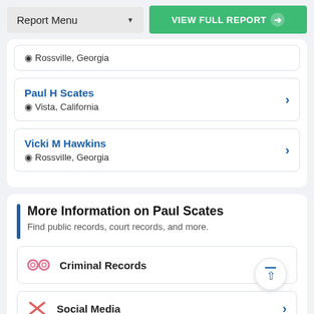Report Menu | VIEW FULL REPORT
Rossville, Georgia (partial card)
Paul H Scates — Vista, California
Vicki M Hawkins — Rossville, Georgia
More Information on Paul Scates
Find public records, court records, and more.
Criminal Records
Social Media (partial)